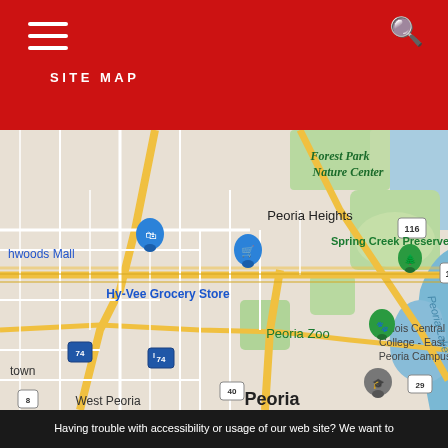SITE MAP
[Figure (map): Google Maps screenshot showing Peoria, Illinois area with landmarks including Forest Park Nature Center, Peoria Heights, Spring Creek Preserve, Hy-Vee Grocery Store, Northwoods Mall, Peoria Zoo, Illinois Central College East Peoria Campus, West Peoria, and Peoria Lake. Roads I-74, Route 150, Route 116, Route 40, Route 29, and Route 8 are visible.]
Having trouble with accessibility or usage of our web site? We want to